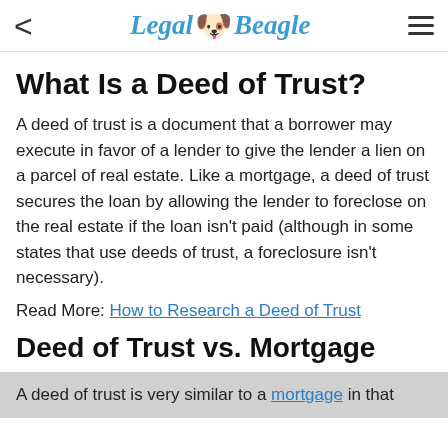Legal Beagle
What Is a Deed of Trust?
A deed of trust is a document that a borrower may execute in favor of a lender to give the lender a lien on a parcel of real estate. Like a mortgage, a deed of trust secures the loan by allowing the lender to foreclose on the real estate if the loan isn't paid (although in some states that use deeds of trust, a foreclosure isn't necessary).
Read More: How to Research a Deed of Trust
Deed of Trust vs. Mortgage
A deed of trust is very similar to a mortgage in that